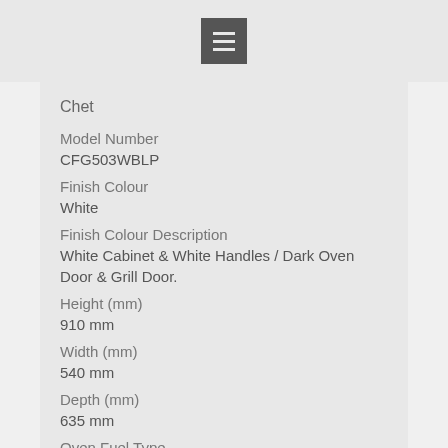Chet
Model Number
CFG503WBLP
Finish Colour
White
Finish Colour Description
White Cabinet & White Handles / Dark Oven Door & Grill Door.
Height (mm)
910 mm
Width (mm)
540 mm
Depth (mm)
635 mm
Oven Fuel Type
LPG